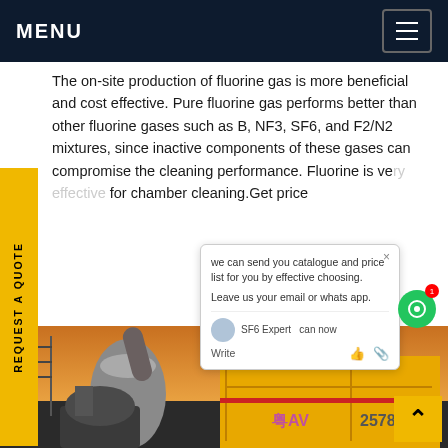MENU
The on-site production of fluorine gas is more beneficial and cost effective. Pure fluorine gas performs better than other fluorine gases such as B, NF3, SF6, and F2/N2 mixtures, since inactive components of these gases can compromise the cleaning performance. Fluorine is very effective for chamber cleaning. Get price
REQUEST A QUOTE
we can send you catalogue and price list for you by effective choosing.
Leave us your email or whatsapp.
SF6 Expert  can now
Write
[Figure (photo): Industrial equipment photo showing large cylindrical pipes, yellow shipping containers/equipment labeled with Chinese characters and '2578', industrial scaffolding, and a sunset/sunrise background]